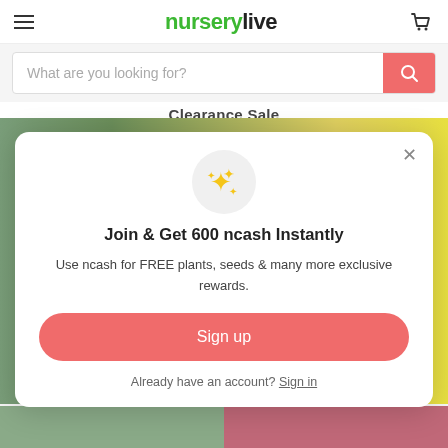nurserylive
What are you looking for?
Clearance Sale
[Figure (screenshot): Background image with plants/flowers visible behind the modal dialog]
Join & Get 600 ncash Instantly
Use ncash for FREE plants, seeds & many more exclusive rewards.
Sign up
Already have an account? Sign in
[Figure (photo): Thumbnail strip at bottom showing two partial photos]